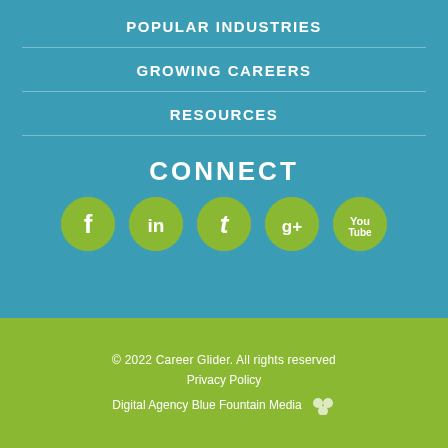POPULAR INDUSTRIES
GROWING CAREERS
RESOURCES
CONNECT
[Figure (infographic): Five green circular social media icons: Facebook (f), LinkedIn (in), Twitter (bird), Google+ (g+), YouTube (You Tube)]
© 2022 Career Glider. All rights reserved
Privacy Policy
Digital Agency Blue Fountain Media